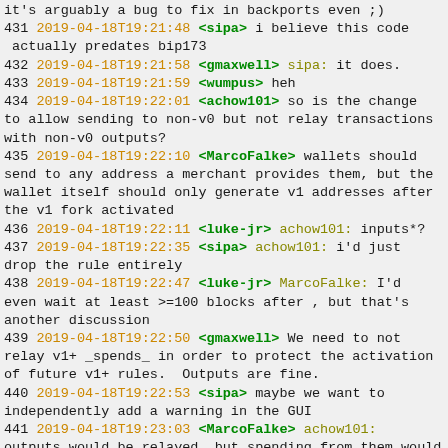it's arguably a bug to fix in backports even ;)
431 2019-04-18T19:21:48 <sipa> i believe this code actually predates bip173
432 2019-04-18T19:21:58 <gmaxwell> sipa: it does.
433 2019-04-18T19:21:59 <wumpus> heh
434 2019-04-18T19:22:01 <achow101> so is the change to allow sending to non-v0 but not relay transactions with non-v0 outputs?
435 2019-04-18T19:22:10 <MarcoFalke> wallets should send to any address a merchant provides them, but the wallet itself should only generate v1 addresses after the v1 fork activated
436 2019-04-18T19:22:11 <luke-jr> achow101: inputs*?
437 2019-04-18T19:22:35 <sipa> achow101: i'd just drop the rule entirely
438 2019-04-18T19:22:47 <luke-jr> MarcoFalke: I'd even wait at least >=100 blocks after , but that's another discussion
439 2019-04-18T19:22:50 <gmaxwell> We need to not relay v1+ _spends_ in order to protect the activation of future v1+ rules.  Outputs are fine.
440 2019-04-18T19:22:53 <sipa> maybe we want to independently add a warning in the GUI
441 2019-04-18T19:23:03 <MarcoFalke> achow101: outputs would be relayed, but spending from them would be non-standard
442 2019-04-18T19:23:05 <luke-jr> sipa: policy should prevent spending v1 UTXOs